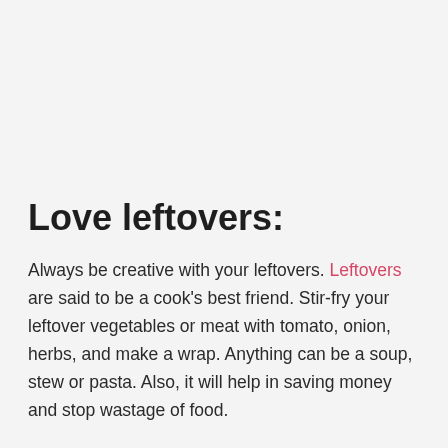Love leftovers:
Always be creative with your leftovers. Leftovers are said to be a cook's best friend. Stir-fry your leftover vegetables or meat with tomato, onion, herbs, and make a wrap. Anything can be a soup, stew or pasta. Also, it will help in saving money and stop wastage of food.